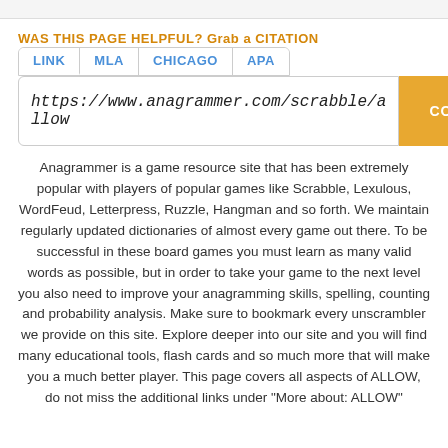WAS THIS PAGE HELPFUL? Grab a CITATION
LINK   MLA   CHICAGO   APA
https://www.anagrammer.com/scrabble/allow
COPY
Anagrammer is a game resource site that has been extremely popular with players of popular games like Scrabble, Lexulous, WordFeud, Letterpress, Ruzzle, Hangman and so forth. We maintain regularly updated dictionaries of almost every game out there. To be successful in these board games you must learn as many valid words as possible, but in order to take your game to the next level you also need to improve your anagramming skills, spelling, counting and probability analysis. Make sure to bookmark every unscrambler we provide on this site. Explore deeper into our site and you will find many educational tools, flash cards and so much more that will make you a much better player. This page covers all aspects of ALLOW, do not miss the additional links under "More about: ALLOW"